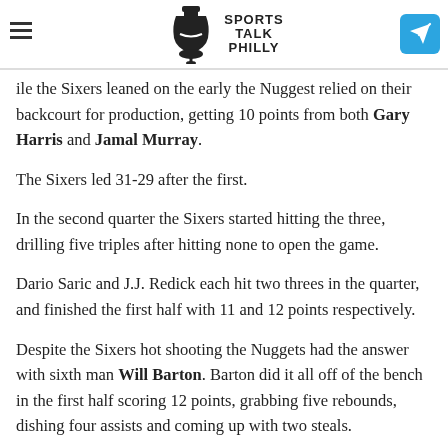Sports Talk Philly
while the Sixers leaned on the early the Nuggets relied on their backcourt for production, getting 10 points from both Gary Harris and Jamal Murray.
The Sixers led 31-29 after the first.
In the second quarter the Sixers started hitting the three, drilling five triples after hitting none to open the game.
Dario Saric and J.J. Redick each hit two threes in the quarter, and finished the first half with 11 and 12 points respectively.
Despite the Sixers hot shooting the Nuggets had the answer with sixth man Will Barton. Barton did it all off of the bench in the first half scoring 12 points, grabbing five rebounds, dishing four assists and coming up with two steals.
Jamal Murray led all scorers with 18 points in the first half